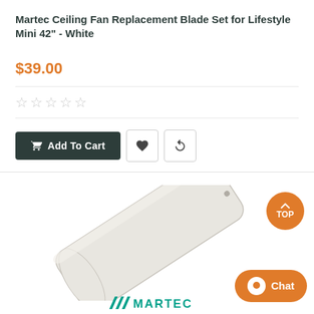Martec Ceiling Fan Replacement Blade Set for Lifestyle Mini 42" - White
$39.00
☆☆☆☆☆
Add To Cart
[Figure (photo): White ceiling fan replacement blade shown diagonally, with Martec logo below]